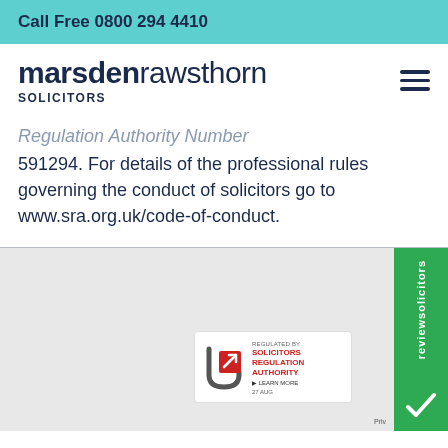Call Free 0800 294 4410
[Figure (logo): Marsden Rawsthorn Solicitors logo with hamburger menu icon]
Regulation Authority Number 591294. For details of the professional rules governing the conduct of solicitors go to www.sra.org.uk/code-of-conduct.
[Figure (logo): SRA Regulated by Solicitors Regulation Authority badge, dated 27 AUG]
[Figure (logo): reviewsolicitors green sidebar badge with logo]